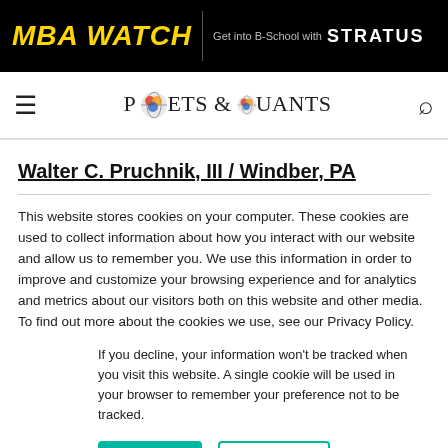MBA WATCH | Get into B-School with STRATUS
[Figure (logo): Poets & Quants logo with globe graphic and hamburger menu icon on left, search icon on right]
Walter C. Pruchnik, III / Windber, PA
This website stores cookies on your computer. These cookies are used to collect information about how you interact with our website and allow us to remember you. We use this information in order to improve and customize your browsing experience and for analytics and metrics about our visitors both on this website and other media. To find out more about the cookies we use, see our Privacy Policy.
If you decline, your information won’t be tracked when you visit this website. A single cookie will be used in your browser to remember your preference not to be tracked.